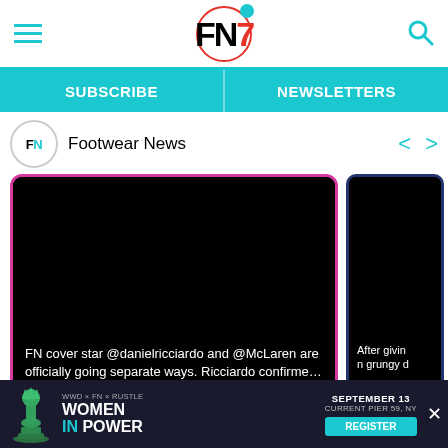FN7 — Footwear News header with hamburger menu and search icon
SUBSCRIBE   NEWSLETTERS
Footwear News
[Figure (screenshot): Social media feed card showing black image with text: FN cover star @danielricciardo and @McLaren are officially going separate ways. Ricciardo confirme… — 5 days ago]
[Figure (screenshot): Partial second card (dark blue border) with black image and partial text: After givin n grungy d about 8 hou]
[Figure (other): Advertisement banner: WWD x FN x Rustle — Women in Power — September 13 — Current Pier 59, NY — Register button — chess queen piece graphic]